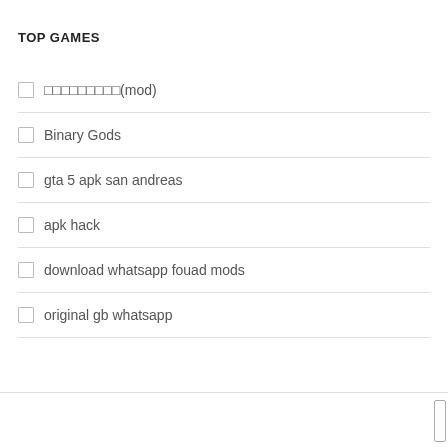TOP GAMES
□□□□□□□□□(mod)
Binary Gods
gta 5 apk san andreas
apk hack
download whatsapp fouad mods
original gb whatsapp